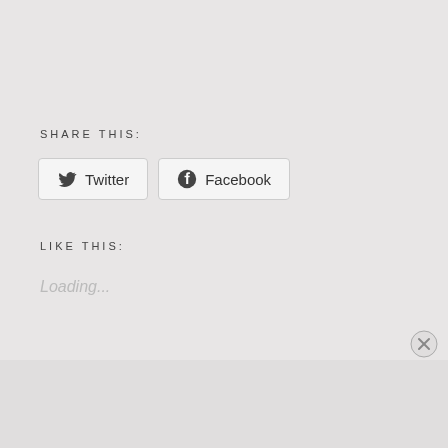SHARE THIS:
[Figure (screenshot): Twitter and Facebook share buttons with icons]
LIKE THIS:
Loading...
Advertisements
[Figure (infographic): Pocket Casts advertisement banner: An app by listeners, for listeners.]